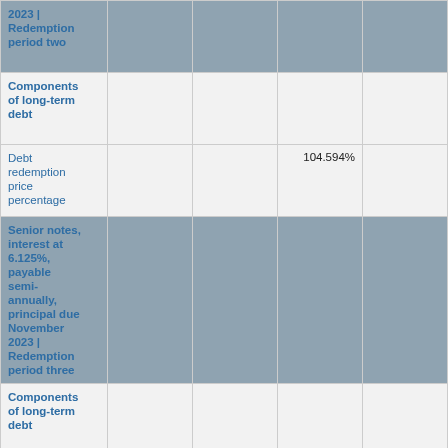|  |  |  |  |  |
| --- | --- | --- | --- | --- |
| 2023 | Redemption period two |  |  |  |  |
| Components of long-term debt |  |  |  |  |
| Debt redemption price percentage |  |  | 104.594% |  |
| Senior notes, interest at 6.125%, payable semi-annually, principal due November 2023 | Redemption period three |  |  |  |  |
| Components of long-term debt |  |  |  |  |
| Debt redemption price percentage |  |  | 103.063% |  |